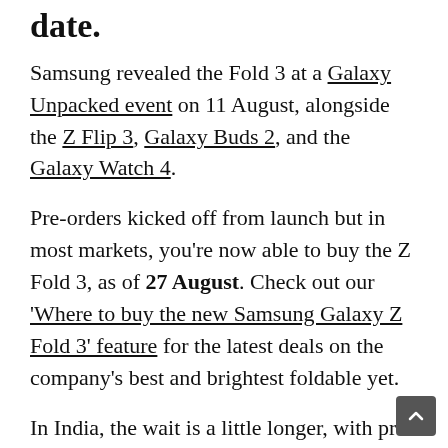date.
Samsung revealed the Fold 3 at a Galaxy Unpacked event on 11 August, alongside the Z Flip 3, Galaxy Buds 2, and the Galaxy Watch 4.
Pre-orders kicked off from launch but in most markets, you're now able to buy the Z Fold 3, as of 27 August. Check out our 'Where to buy the new Samsung Galaxy Z Fold 3' feature for the latest deals on the company's best and brightest foldable yet.
In India, the wait is a little longer, with pre-orders not coming into effect until 24 August and the phone officially going on sale from 10 September.